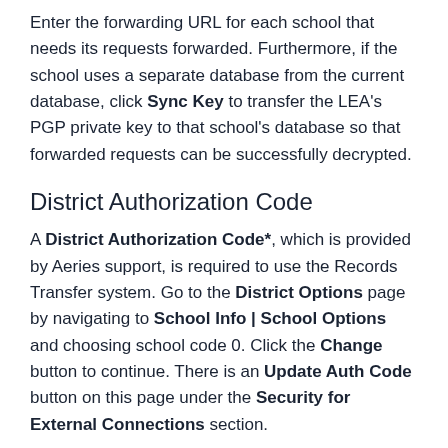Enter the forwarding URL for each school that needs its requests forwarded.  Furthermore, if the school uses a separate database from the current database, click Sync Key to transfer the LEA's PGP private key to that school's database so that forwarded requests can be successfully decrypted.
District Authorization Code
A District Authorization Code*, which is provided by Aeries support, is required to use the Records Transfer system.  Go to the District Options page by navigating to School Info | School Options and choosing school code 0. Click the Change button to continue.  There is an Update Auth Code button on this page under the Security for External Connections section.